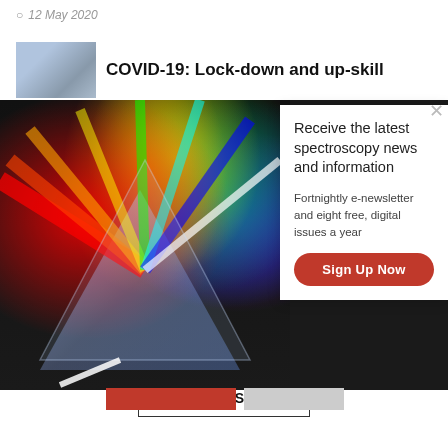12 May 2020
COVID-19: Lock-down and up-skill
[Figure (photo): Thumbnail image of person at laptop]
[Figure (photo): Prism refracting white light into rainbow spectrum on dark background, with newsletter signup popup overlay]
Receive the latest spectroscopy news and information
Fortnightly e-newsletter and eight free, digital issues a year
Sign Up Now
LATEST ISSUE
[Figure (screenshot): Cover of Spectroscopy magazine]